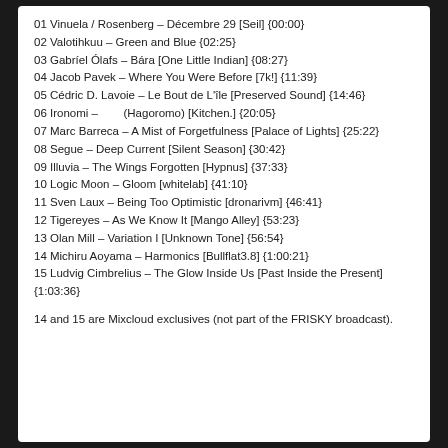01 Vinuela / Rosenberg – Décembre 29 [Seil] {00:00}
02 Valotihkuu – Green and Blue {02:25}
03 Gabríel Ólafs – Bára [One Little Indian] {08:27}
04 Jacob Pavek – Where You Were Before [7k!] {11:39}
05 Cédric D. Lavoie – Le Bout de L'île [Preserved Sound] {14:46}
06 Ironomi –        (Hagoromo) [Kitchen.] {20:05}
07 Marc Barreca – A Mist of Forgetfulness [Palace of Lights] {25:22}
08 Segue – Deep Current [Silent Season] {30:42}
09 Illuvia – The Wings Forgotten [Hypnus] {37:33}
10 Logic Moon – Gloom [whitelab] {41:10}
11 Sven Laux – Being Too Optimistic [dronarivm] {46:41}
12 Tigereyes – As We Know It [Mango Alley] {53:23}
13 Olan Mill – Variation I [Unknown Tone] {56:54}
14 Michiru Aoyama – Harmonics [Bullflat3.8] {1:00:21}
15 Ludvig Cimbrelius – The Glow Inside Us [Past Inside the Present] {1:03:36}
14 and 15 are Mixcloud exclusives (not part of the FRISKY broadcast).